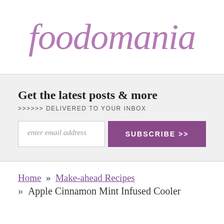[Figure (logo): foodomania logo in purple italic serif font]
Get the latest posts & more
>>>>>> DELIVERED TO YOUR INBOX
enter email address  SUBSCRIBE >>
Home » Make-ahead Recipes
» Apple Cinnamon Mint Infused Cooler